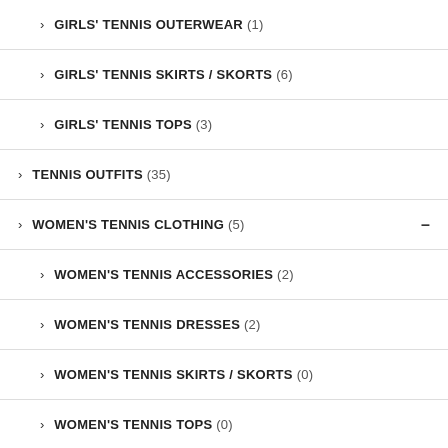GIRLS' TENNIS OUTERWEAR (1)
GIRLS' TENNIS SKIRTS / SKORTS (6)
GIRLS' TENNIS TOPS (3)
TENNIS OUTFITS (35)
WOMEN'S TENNIS CLOTHING (5)
WOMEN'S TENNIS ACCESSORIES (2)
WOMEN'S TENNIS DRESSES (2)
WOMEN'S TENNIS SKIRTS / SKORTS (0)
WOMEN'S TENNIS TOPS (0)